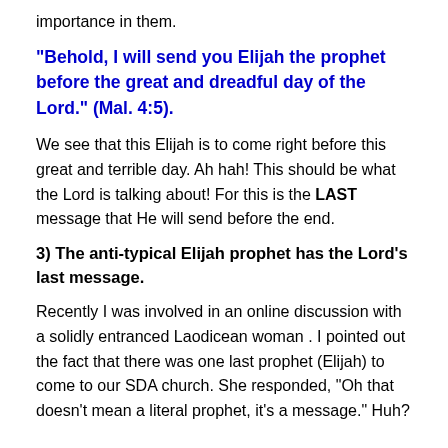importance in them.
“Behold, I will send you Elijah the prophet before the great and dreadful day of the Lord.” (Mal. 4:5).
We see that this Elijah is to come right before this great and terrible day. Ah hah! This should be what the Lord is talking about! For this is the LAST message that He will send before the end.
3) The anti-typical Elijah prophet has the Lord’s last message.
Recently I was involved in an online discussion with a solidly entranced Laodicean woman . I pointed out the fact that there was one last prophet (Elijah) to come to our SDA church. She responded, “Oh that doesn’t mean a literal prophet, it’s a message.” Huh?